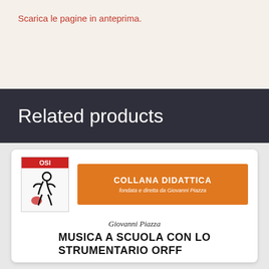Scarica le pagine in anteprima.
Related products
[Figure (illustration): Book cover thumbnail showing OSI logo with abstract figure illustration in black and red]
COLLANA DIDATTICA
fondata e diretta da Giovanni Piazza
Giovanni Piazza
MUSICA A SCUOLA CON LO STRUMENTARIO ORFF